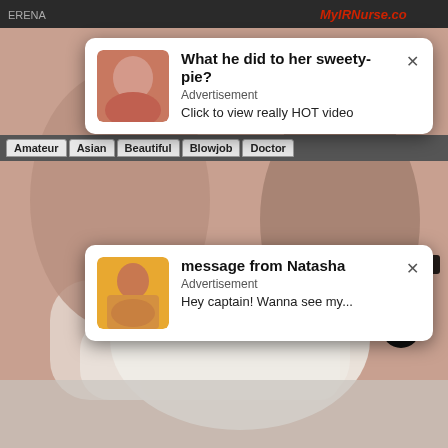[Figure (screenshot): Screenshot of an adult website with two advertisement popups overlaying explicit video content. Top-right shows site logo. Category navigation tabs visible. Two white rounded-rectangle ad popups with thumbnail images and text. A video timer badge shows 7:33. A circular close button at bottom-right.]
What he did to her sweety-pie?
Advertisement
Click to view really HOT video
message from Natasha
Advertisement
Hey captain! Wanna see my...
TUBE NURSE IN WHITE NYLONS